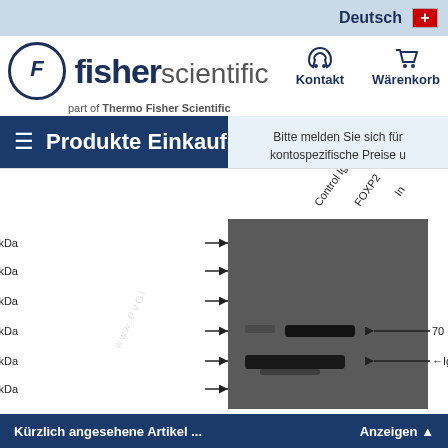Deutsch
[Figure (logo): Fisher Scientific logo - part of Thermo Fisher Scientific]
Kontakt
Warenkorb
Produkte Einkaufen
Bitte melden Sie sich für kontospezifische Preise und Produktverfügbarkeit an
Anmelden
Sie haben noch kein Konto?
Registrieren
[Figure (photo): Western blot image showing protein bands at molecular weight markers 250 kDa, 150 kDa, 100 kDa, 70 kDa, 50 kDa, 40 kDa. Lanes labeled Control IgG, FOXP2, In(put). Band at 70 kDa and IgG heavy chain at 50 kDa indicated with arrows.]
Kürzlich angesehene Artikel ...     Anzeigen ▲